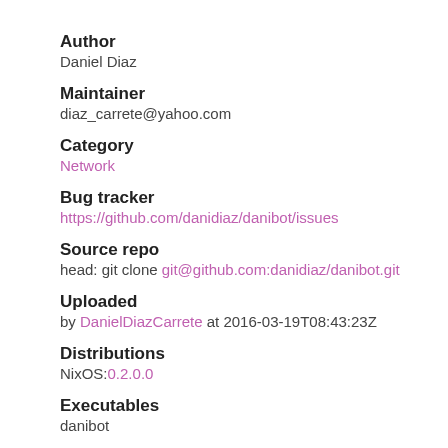Author
Daniel Diaz
Maintainer
diaz_carrete@yahoo.com
Category
Network
Bug tracker
https://github.com/danidiaz/danibot/issues
Source repo
head: git clone git@github.com:danidiaz/danibot.git
Uploaded
by DanielDiazCarrete at 2016-03-19T08:43:23Z
Distributions
NixOS:0.2.0.0
Executables
danibot
Downloads
800 total (1 in the last 30 days)